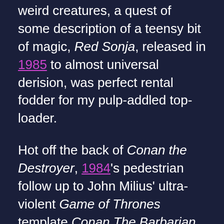weird creatures, a quest of some description of a teensy bit of magic, Red Sonja, released in 1985 to almost universal derision, was perfect rental fodder for my pulp-addled top-loader.
Hot off the back of Conan the Destroyer, 1984's pedestrian follow up to John Milius' ultra-violent Game of Thrones template Conan The Barbarian, Dino De Laurentis saw a further opportunity to cash in on audience interest. Red Sonja, a readymade Hyborean Age barbarian comic set in the Conan universe, contained all the appropriate ingredients necessary for a similar concoction.